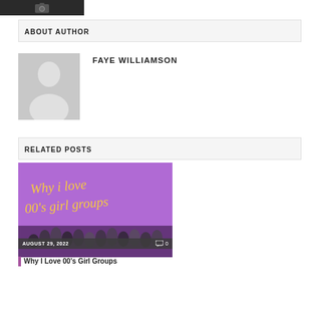[Figure (screenshot): Dark banner with camera/photo icon]
ABOUT AUTHOR
[Figure (photo): Default avatar silhouette image for author Faye Williamson]
FAYE WILLIAMSON
RELATED POSTS
[Figure (photo): Thumbnail image for post 'Why I Love 00's Girl Groups' showing multiple women on a purple background with cursive yellow text]
AUGUST 29, 2022
0
Why I Love 00's Girl Groups